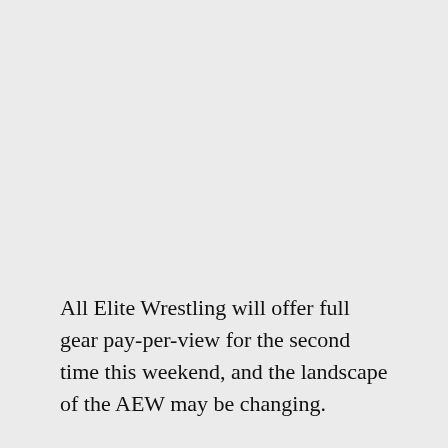All Elite Wrestling will offer full gear pay-per-view for the second time this weekend, and the landscape of the AEW may be changing.